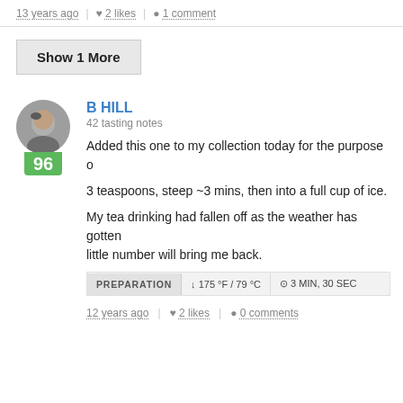13 years ago | ♥ 2 likes | ● 1 comment
Show 1 More
B HILL
42 tasting notes
Added this one to my collection today for the purpose o...
3 teaspoons, steep ~3 mins, then into a full cup of ice.
My tea drinking had fallen off as the weather has gotten... little number will bring me back.
PREPARATION   ↓ 175 °F / 79 °C   ⊙ 3 MIN, 30 SEC
12 years ago | ♥ 2 likes | ● 0 comments